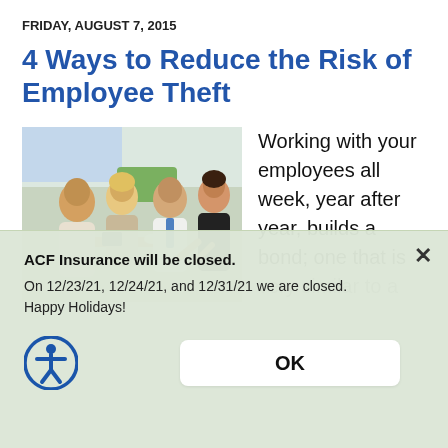FRIDAY, AUGUST 7, 2015
4 Ways to Reduce the Risk of Employee Theft
[Figure (photo): Four business professionals sitting together in an office meeting, smiling and engaged in conversation.]
Working with your employees all week, year after year, builds a bond; one that is very similar to a
ACF Insurance will be closed.
On 12/23/21, 12/24/21, and 12/31/21 we are closed. Happy Holidays!
OK